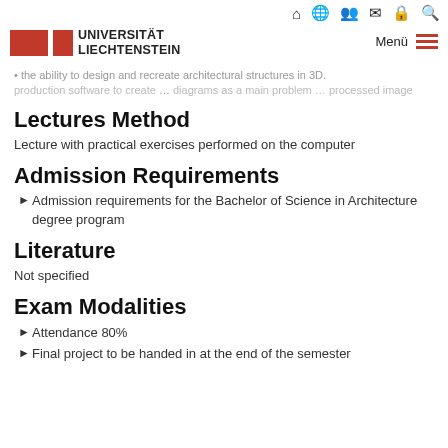Universität Liechtenstein — navigation header with icons and menu
the ability to design and recreate architectural structures in 3D.
production software to create ... diagrams as a main problem ... processed image
Lectures Method
Lecture with practical exercises performed on the computer
Admission Requirements
Admission requirements for the Bachelor of Science in Architecture degree program
Literature
Not specified
Exam Modalities
Attendance 80%
Final project to be handed in at the end of the semester